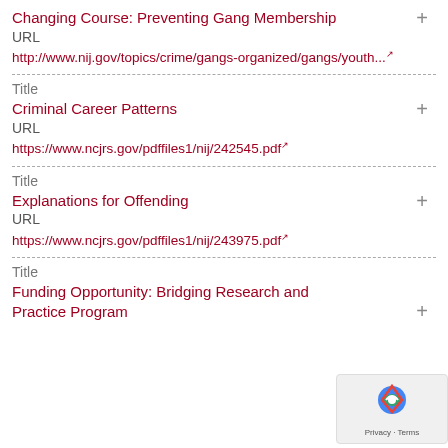Changing Course: Preventing Gang Membership
URL
http://www.nij.gov/topics/crime/gangs-organized/gangs/youth...
Title
Criminal Career Patterns
URL
https://www.ncjrs.gov/pdffiles1/nij/242545.pdf
Title
Explanations for Offending
URL
https://www.ncjrs.gov/pdffiles1/nij/243975.pdf
Title
Funding Opportunity: Bridging Research and Practice Program